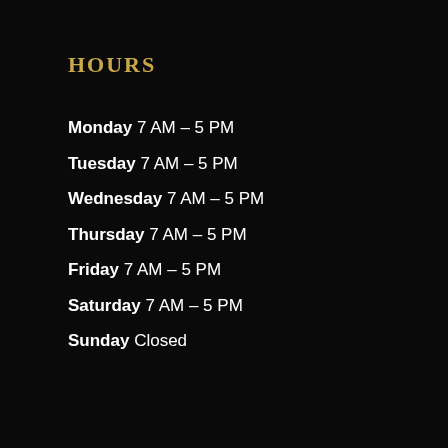HOURS
Monday 7 AM – 5 PM
Tuesday 7 AM – 5 PM
Wednesday 7 AM – 5 PM
Thursday 7 AM – 5 PM
Friday 7 AM – 5 PM
Saturday 7 AM – 5 PM
Sunday Closed